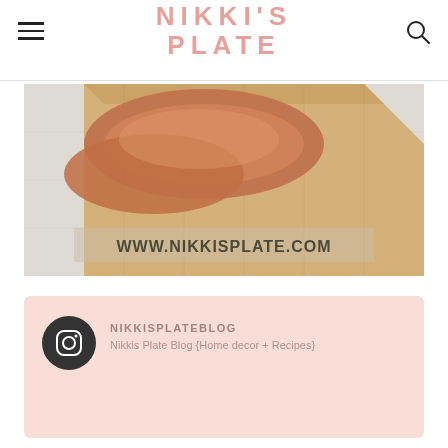NIKKI'S PLATE
[Figure (photo): Overhead photo of bread/toast slices on a wooden cutting board over a white surface, with text overlay WWW.NIKKISPLATE.COM]
NIKKISPLATEBLOG
Nikkis Plate Blog {Home decor + Recipes}